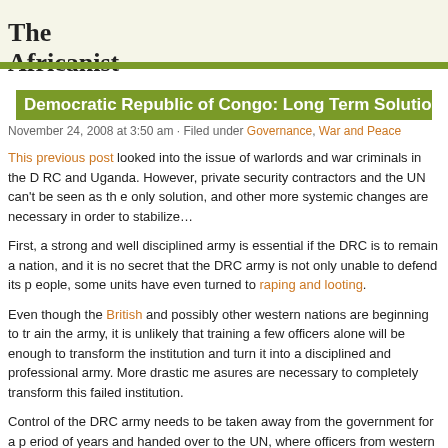The Africanist
Democratic Republic of Congo: Long Term Solutio…
November 24, 2008 at 3:50 am · Filed under Governance, War and Peace
This previous post looked into the issue of warlords and war criminals in the DRC and Uganda. However, private security contractors and the UN can't be seen as the only solution, and other more systemic changes are necessary in order to stabilize…
First, a strong and well disciplined army is essential if the DRC is to remain a nation, and it is no secret that the DRC army is not only unable to defend its people, some units have even turned to raping and looting.
Even though the British and possibly other western nations are beginning to train the army, it is unlikely that training a few officers alone will be enough to transform the institution and turn it into a disciplined and professional army. More drastic measures are necessary to completely transform this failed institution.
Control of the DRC army needs to be taken away from the government for a period of years and handed over to the UN, where officers from western nations would take the responsibility of transforming it into a professional institution. The goal has to be that at the end of the ten year period, the DRC will have an army not only capable of…